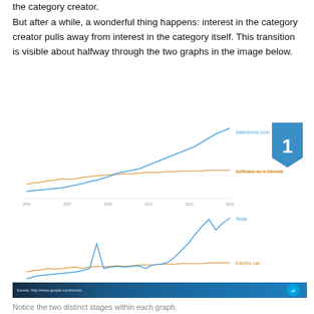the category creator.
But after a while, a wonderful thing happens: interest in the category creator pulls away from interest in the category itself. This transition is visible about halfway through the two graphs in the image below.
[Figure (continuous-plot): Two Google Trends line charts showing search interest over time. Top chart: Salesforce.com (blue line rising sharply) vs Software as a Service (orange/red flat line). Bottom chart: Tesla (blue line rising sharply in later half) vs Electric car (orange/red relatively flat line). A numbered badge '1' appears top right. Source bar at bottom credits http://www.google.com/trends with Salesforce logo.]
Notice the two distinct stages within each graph.